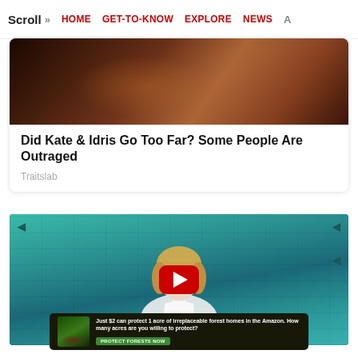Scroll >> HOME  GET-TO-KNOW  EXPLORE  NEWS  A
[Figure (photo): Close-up warm-toned photo of partially obscured figures on orange/brown background]
Did Kate & Idris Go Too Far? Some People Are Outraged
Traitslab
[Figure (screenshot): Video thumbnail showing woman with blonde hair in white turtleneck in front of teal brick wall, with YouTube play button overlay]
[Figure (photo): Advertisement banner: Just $2 can protect 1 acre of irreplaceable forest homes in the Amazon. How many acres are you willing to protect? PROTECT FORESTS NOW]